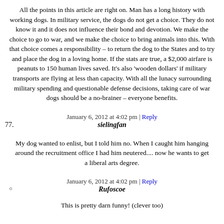All the points in this article are right on. Man has a long history with working dogs. In military service, the dogs do not get a choice. They do not know it and it does not influence their bond and devotion. We make the choice to go to war, and we make the choice to bring animals into this. With that choice comes a responsibility – to return the dog to the States and to try and place the dog in a loving home. If the stats are true, a $2,000 airfare is peanuts to 150 human lives saved. It's also 'wooden dollars' if military transports are flying at less than capacity. With all the lunacy surrounding military spending and questionable defense decisions, taking care of war dogs should be a no-brainer – everyone benefits.
January 6, 2012 at 4:02 pm | Reply
sielingfan
77.
My dog wanted to enlist, but I told him no. When I caught him hanging around the recruitment office I had him neutered.... now he wants to get a liberal arts degree.
January 6, 2012 at 4:02 pm | Reply
Rufoscoe
This is pretty darn funny! (clever too)